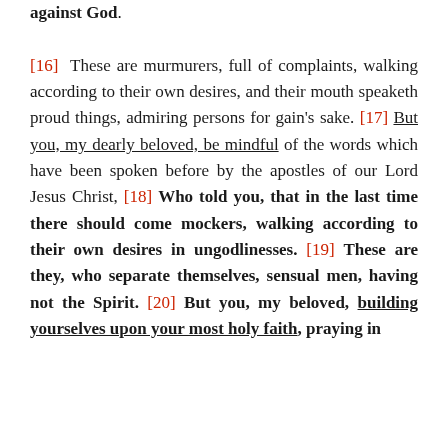against God. [16] These are murmurers, full of complaints, walking according to their own desires, and their mouth speaketh proud things, admiring persons for gain's sake. [17] But you, my dearly beloved, be mindful of the words which have been spoken before by the apostles of our Lord Jesus Christ, [18] Who told you, that in the last time there should come mockers, walking according to their own desires in ungodlinesses. [19] These are they, who separate themselves, sensual men, having not the Spirit. [20] But you, my beloved, building yourselves upon your most holy faith, praying in